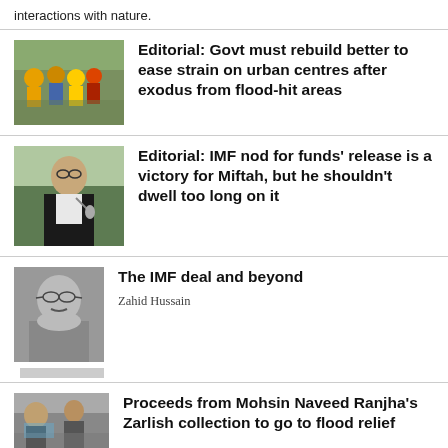interactions with nature.
[Figure (photo): People in colorful vests at a crowded location, flood relief scene]
Editorial: Govt must rebuild better to ease strain on urban centres after exodus from flood-hit areas
[Figure (photo): Man in black vest speaking at a podium/microphone]
Editorial: IMF nod for funds' release is a victory for Miftah, but he shouldn't dwell too long on it
[Figure (photo): Black and white portrait photo of a man with glasses]
The IMF deal and beyond
Zahid Hussain
[Figure (photo): Two men photographed outdoors near a vehicle]
Proceeds from Mohsin Naveed Ranjha's Zarlish collection to go to flood relief